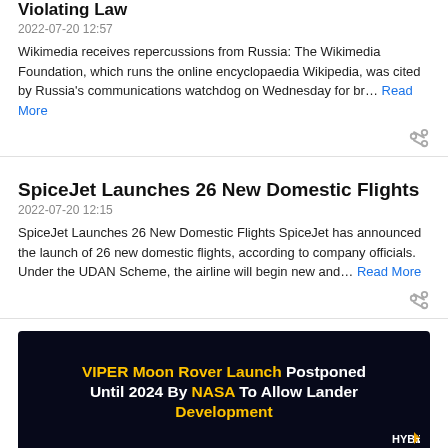Violating Law
2022-07-20 12:57
Wikimedia receives repercussions from Russia: The Wikimedia Foundation, which runs the online encyclopaedia Wikipedia, was cited by Russia's communications watchdog on Wednesday for br… Read More
SpiceJet Launches 26 New Domestic Flights
2022-07-20 12:15
SpiceJet Launches 26 New Domestic Flights SpiceJet has announced the launch of 26 new domestic flights, according to company officials. Under the UDAN Scheme, the airline will begin new and… Read More
[Figure (screenshot): Dark background image with text: VIPER Moon Rover Launch Postponed Until 2024 By NASA To Allow Lander Development. Yellow and white bold text with HYBIZ TV logo at bottom right.]